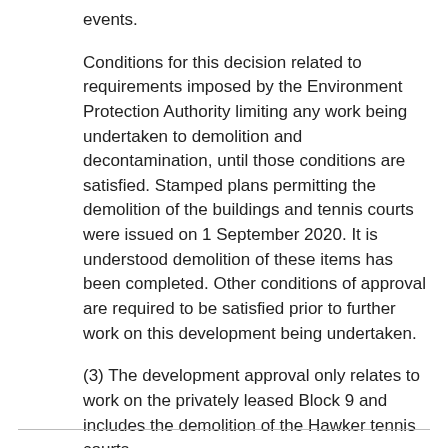events.
Conditions for this decision related to requirements imposed by the Environment Protection Authority limiting any work being undertaken to demolition and decontamination, until those conditions are satisfied. Stamped plans permitting the demolition of the buildings and tennis courts were issued on 1 September 2020. It is understood demolition of these items has been completed. Other conditions of approval are required to be satisfied prior to further work on this development being undertaken.
(3) The development approval only relates to work on the privately leased Block 9 and includes the demolition of the Hawker tennis courts.